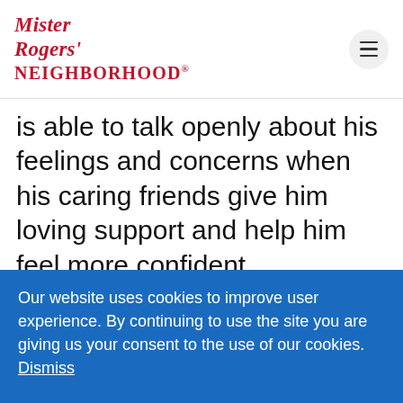Mister Rogers' Neighborhood
is able to talk openly about his feelings and concerns when his caring friends give him loving support and help him feel more confident.
Ugga mugga
Our website uses cookies to improve user experience. By continuing to use the site you are giving us your consent to the use of our cookies.  Dismiss